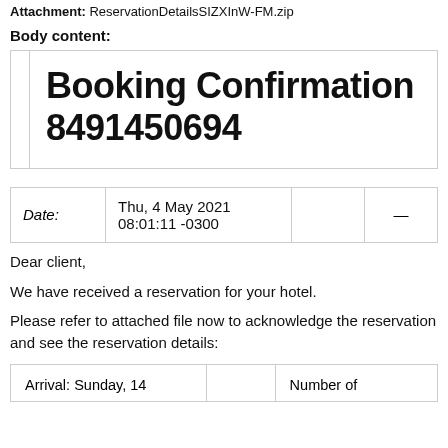Attachment: ReservationDetailsSIZXInW-FM.zip
Body content:
Booking Confirmation 8491450694
| Date: | Thu, 4 May 2021 08:01:11 -0300 |  | — |
| --- | --- | --- | --- |
Dear client,
We have received a reservation for your hotel.
Please refer to attached file now to acknowledge the reservation and see the reservation details:
| Arrival: Sunday, 14 |  | Number of |
| --- | --- | --- |